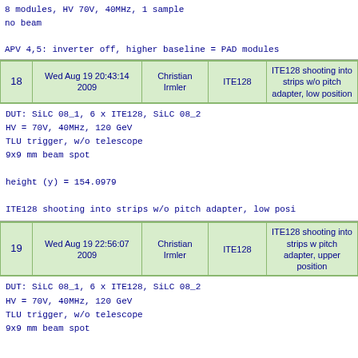8 modules, HV 70V, 40MHz, 1 sample
no beam

APV 4,5: inverter off, higher baseline = PAD modules
| # | Date | Person | Device | Description |
| --- | --- | --- | --- | --- |
| 18 | Wed Aug 19 20:43:14 2009 | Christian Irmler | ITE128 | ITE128 shooting into strips w/o pitch adapter, low position |
DUT: SiLC 08_1, 6 x ITE128, SiLC 08_2
HV = 70V, 40MHz, 120 GeV
TLU trigger, w/o telescope
9x9 mm beam spot

height (y) = 154.0979

ITE128 shooting into strips w/o pitch adapter, low posi
| # | Date | Person | Device | Description |
| --- | --- | --- | --- | --- |
| 19 | Wed Aug 19 22:56:07 2009 | Christian Irmler | ITE128 | ITE128 shooting into strips w pitch adapter, upper position |
DUT: SiLC 08_1, 6 x ITE128, SiLC 08_2
HV = 70V, 40MHz, 120 GeV
TLU trigger, w/o telescope
9x9 mm beam spot